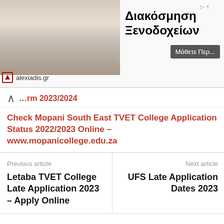[Figure (photo): Advertisement banner showing hotel interior with Greek text 'Διακόσμηση Ξενοδοχείων' (Hotel Decoration) and button 'Μάθετε Περ...' from alexiadis.gr]
…rm 2023/2024
Check Mopani South East TVET College Application Status 2022/2023 Online – www.mopanicollege.edu.za
Previous article
Letaba TVET College Late Application 2023 – Apply Online
Next article
UFS Late Application Dates 2023
Leave a Reply